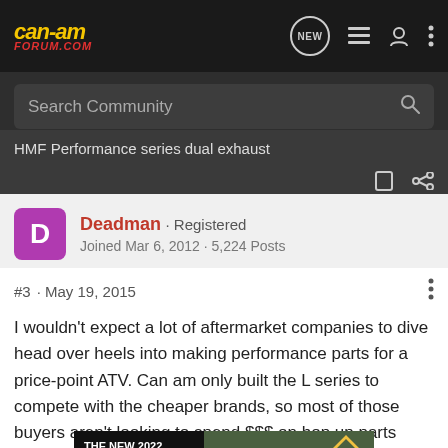can-am forum.com
Search Community
HMF Performance series dual exhaust
Deadman · Registered
Joined Mar 6, 2012 · 5,224 Posts
#3 · May 19, 2015
I wouldn't expect a lot of aftermarket companies to dive head over heels into making performance parts for a price-point ATV. Can am only built the L series to compete with the cheaper brands, so most of those buyers aren't looking to spend $$$ on hop up parts because they wanted minimal investment to begin with .
[Figure (screenshot): Advertisement for The New 2022 Silverado by Chevrolet, showing a dark truck on a background, with an Explore button.]